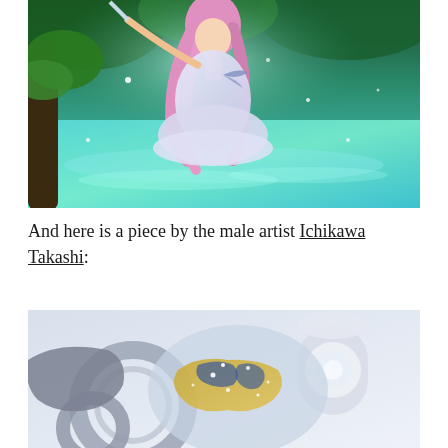[Figure (illustration): Anime-style illustration of a girl with long pink hair in a white ruffled dress standing in a glowing teal forest pool, surrounded by green foliage and sparkles]
And here is a piece by the male artist Ichikawa Takashi:
[Figure (illustration): Anime-style illustration of stylized mechanical or fantasy objects including circular gear-like shapes with gold and blue star patterns, on a light background]